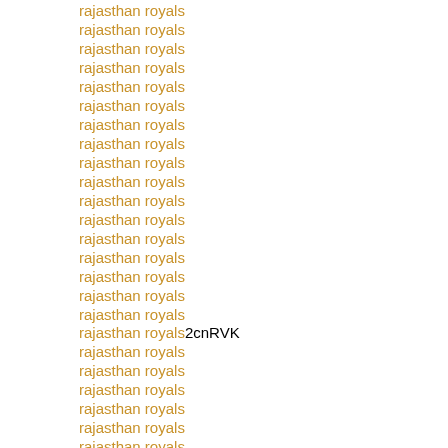rajasthan royals
rajasthan royals
rajasthan royals
rajasthan royals
rajasthan royals
rajasthan royals
rajasthan royals
rajasthan royals
rajasthan royals
rajasthan royals
rajasthan royals
rajasthan royals
rajasthan royals
rajasthan royals
rajasthan royals
rajasthan royals
rajasthan royals
rajasthan royals2cnRVK
rajasthan royals
rajasthan royals
rajasthan royals
rajasthan royals
rajasthan royals
rajasthan royals
rajasthan royals
rajasthan royals
rajasthan royals
rajasthan royals